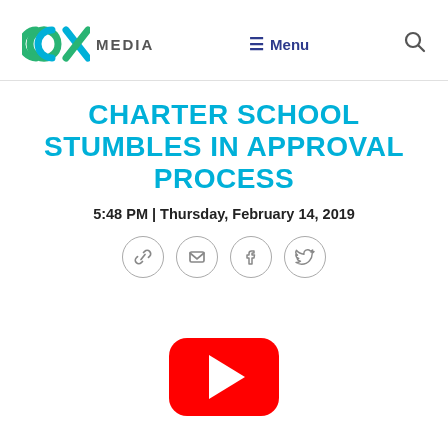CCX MEDIA | Menu
CHARTER SCHOOL STUMBLES IN APPROVAL PROCESS
5:48 PM | Thursday, February 14, 2019
[Figure (other): Social share icons: link, email, facebook, twitter]
[Figure (other): YouTube play button video embed placeholder]